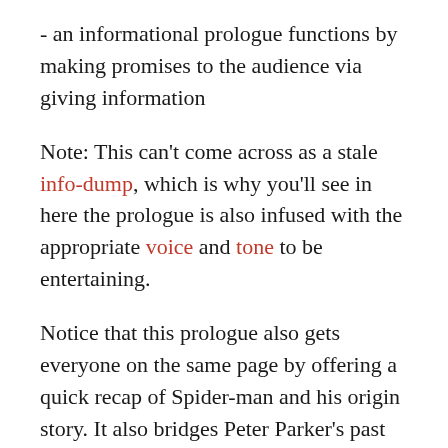- an informational prologue functions by making promises to the audience via giving information
Note: This can't come across as a stale info-dump, which is why you'll see in here the prologue is also infused with the appropriate voice and tone to be entertaining.
Notice that this prologue also gets everyone on the same page by offering a quick recap of Spider-man and his origin story. It also bridges Peter Parker's past story to the story we are about to watch.
But most importantly, it makes promises to the audience--like every good prologue should. And